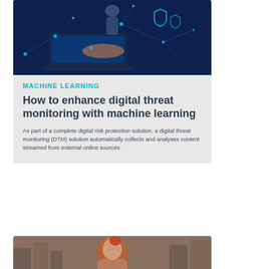[Figure (photo): Person working on a laptop with digital security network overlay glowing in blue tones]
MACHINE LEARNING
How to enhance digital threat monitoring with machine learning
As part of a complete digital risk protection solution, a digital threat monitoring (DTM) solution automatically collects and analyses content streamed from external online sources.
[Figure (photo): Woman with red hair outdoors in urban setting with buildings in background]